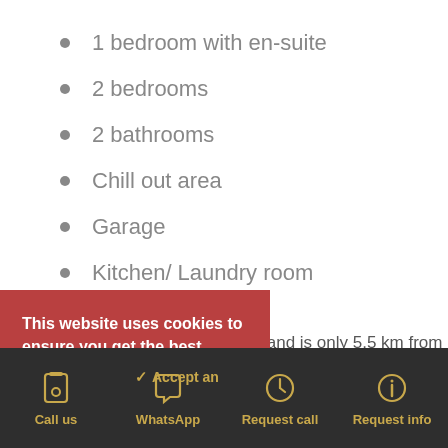1 bedroom with en-suite
2 bedrooms
2 bathrooms
Chill out area
Garage
Kitchen/ Laundry room
vs and is only 5.5 km from each of Platja d'Aro, with
This website uses cookies to ensure you get the best experience on our website. View privacy policy
Call us   WhatsApp   Request call   Request info